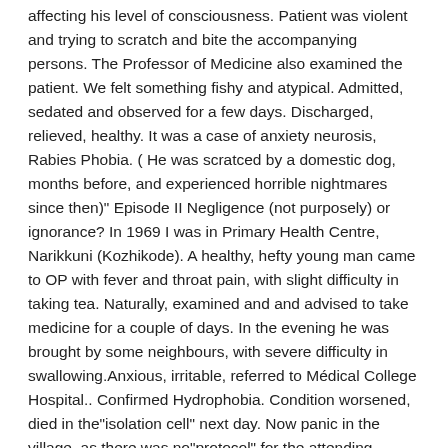affecting his level of consciousness. Patient was violent and trying to scratch and bite the accompanying persons. The Professor of Medicine also examined the patient. We felt something fishy and atypical. Admitted, sedated and observed for a few days. Discharged, relieved, healthy. It was a case of anxiety neurosis, Rabies Phobia. ( He was scratced by a domestic dog, months before, and experienced horrible nightmares since then)" Episode II Negligence (not purposely) or ignorance? In 1969 I was in Primary Health Centre, Narikkuni (Kozhikode). A healthy, hefty young man came to OP with fever and throat pain, with slight difficulty in taking tea. Naturally, examined and and advised to take medicine for a couple of days. In the evening he was brought by some neighbours, with severe difficulty in swallowing.Anxious, irritable, referred to Médical College Hospital.. Confirmed Hydrophobia. Condition worsened, died in the"isolation cell" next day. Now panic in the village, as there was no"protocol" for the attending locals, including me. Whether we should take ARVaccine?... was the problem.. with different opinions from